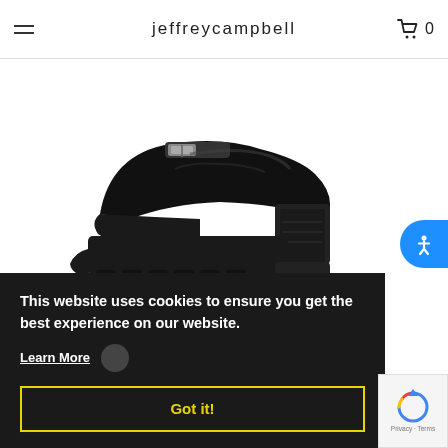jeffreycampbell
[Figure (photo): Black patent leather platform shoe with chunky heel and silver buckle detail, shown from the side on white background]
This website uses cookies to ensure you get the best experience on our website.
Learn More
Got it!